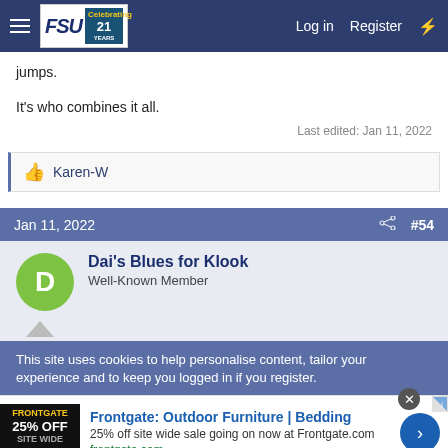FSU forum navigation bar with Log in, Register links
jumps.
It's who combines it all.
Last edited: Jan 11, 2022
👍 Karen-W
Jan 11, 2022 #54
Dai's Blues for Klook
Well-Known Member
This site uses cookies to help personalise content, tailor your experience and to keep you logged in if you register.
[Figure (screenshot): Advertisement for Frontgate: Outdoor Furniture | Bedding, 25% off site wide sale going on now at Frontgate.com, frontgate.com]